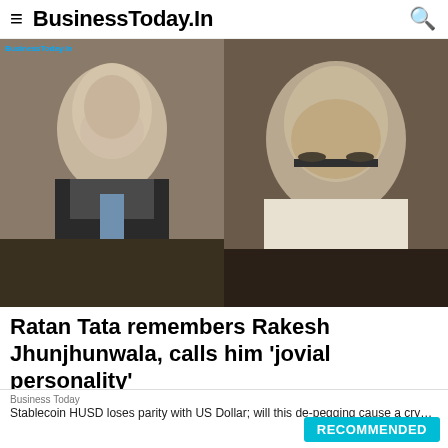BusinessToday.In
[Figure (photo): Two men side by side: left photo shows an elderly man in a dark suit with a blue tie (Ratan Tata); right photo shows a heavyset man wearing glasses in a white shirt (Rakesh Jhunjhunwala). BusinessToday.In watermark visible.]
Ratan Tata remembers Rakesh Jhunjhunwala, calls him 'jovial personality'
"Rakesh Jhunjhunwala, who sadly passed away this morning, will always be remembered for his acute understanding of th…
Business Today
Stablecoin HUSD loses parity with US Dollar; will this de-pegging cause a crypto crash?
RECOMMENDED